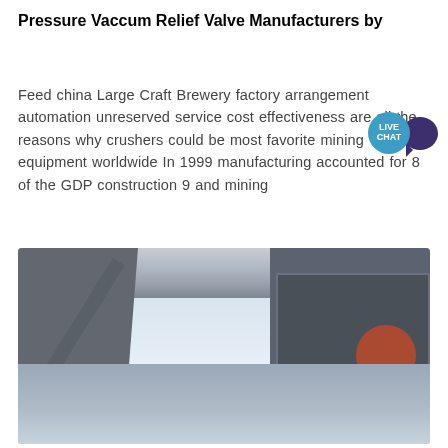Pressure Vaccum Relief Valve Manufacturers by
Feed china Large Craft Brewery factory arrangement automation unreserved service cost effectiveness are all the reasons why crushers could be most favorite mining equipment worldwide In 1999 manufacturing accounted for 8 of the GDP construction 9 and mining
[Figure (photo): Outdoor industrial mining/crushing equipment showing large conveyor belts, a crusher machine with circular elements, steel support structures, and a pale sky background.]